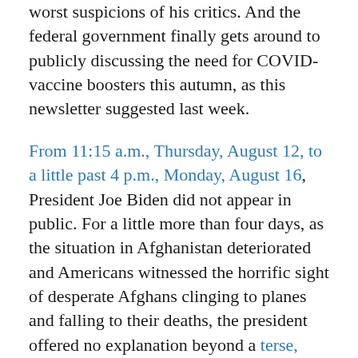worst suspicions of his critics. And the federal government finally gets around to publicly discussing the need for COVID-vaccine boosters this autumn, as this newsletter suggested last week.
From 11:15 a.m., Thursday, August 12, to a little past 4 p.m., Monday, August 16, President Joe Biden did not appear in public. For a little more than four days, as the situation in Afghanistan deteriorated and Americans witnessed the horrific sight of desperate Afghans clinging to planes and falling to their deaths, the president offered no explanation beyond a terse, released written statement and a photo of the president that neglected to crop out the teleconference screens labeled “CIA” and “Doha Station.”